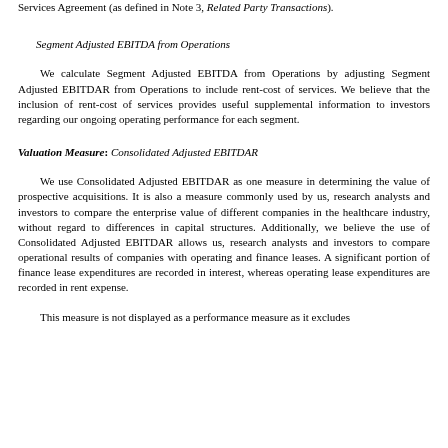Services Agreement (as defined in Note 3, Related Party Transactions).
Segment Adjusted EBITDA from Operations
We calculate Segment Adjusted EBITDA from Operations by adjusting Segment Adjusted EBITDAR from Operations to include rent-cost of services. We believe that the inclusion of rent-cost of services provides useful supplemental information to investors regarding our ongoing operating performance for each segment.
Valuation Measure:
Consolidated Adjusted EBITDAR
We use Consolidated Adjusted EBITDAR as one measure in determining the value of prospective acquisitions. It is also a measure commonly used by us, research analysts and investors to compare the enterprise value of different companies in the healthcare industry, without regard to differences in capital structures. Additionally, we believe the use of Consolidated Adjusted EBITDAR allows us, research analysts and investors to compare operational results of companies with operating and finance leases. A significant portion of finance lease expenditures are recorded in interest, whereas operating lease expenditures are recorded in rent expense.
This measure is not displayed as a performance measure as it excludes